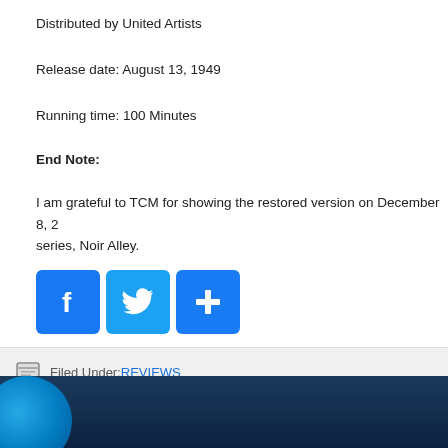Distributed by United Artists
Release date: August 13, 1949
Running time: 100 Minutes
End Note:
I am grateful to TCM for showing the restored version on December 8, 2... series, Noir Alley.
[Figure (infographic): Social share buttons: Facebook (blue f), Twitter (blue bird), and a blue plus/share button]
Filed Under: REVIEWS
[Figure (photo): Dark blue gradient footer with a glowing blue bokeh circle in the lower left]